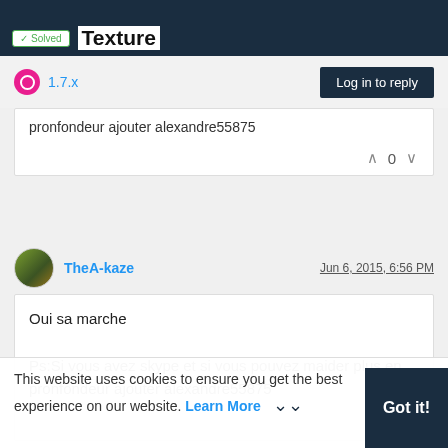Texture
1.7.x
pronfondeur ajouter alexandre55875
TheA-kaze
Jun 6, 2015, 6:56 PM
Oui sa marche

Ps:Si vous avez skype et si vous pouvez maider plus en pronfondeur ajouter alexandre55875
This website uses cookies to ensure you get the best experience on our website. Learn More